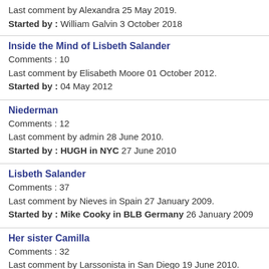Last comment by Alexandra 25 May 2019. Started by : William Galvin 3 October 2018
Inside the Mind of Lisbeth Salander
Comments : 10
Last comment by Elisabeth Moore 01 October 2012.
Started by : 04 May 2012
Niederman
Comments : 12
Last comment by admin 28 June 2010.
Started by : HUGH in NYC 27 June 2010
Lisbeth Salander
Comments : 37
Last comment by Nieves in Spain 27 January 2009.
Started by : Mike Cooky in BLB Germany 26 January 2009
Her sister Camilla
Comments : 32
Last comment by Larssonista in San Diego 19 June 2010.
Started by : Millie in Oakland 16 June 2010
My Only Problem
Comments : 14